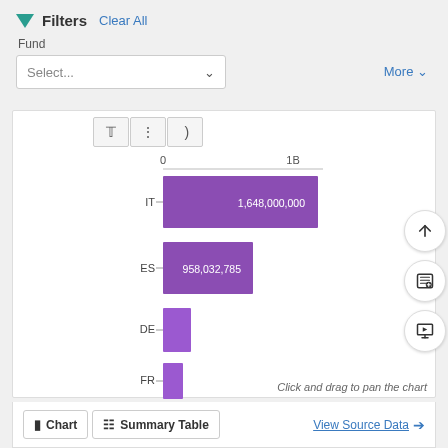Filters  Clear All
Fund
Select...
More
[Figure (bar-chart): ]
Click and drag to pan the chart
Chart   Summary Table   View Source Data →